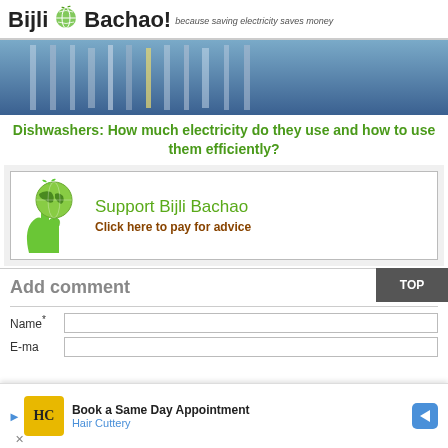Bijli Bachao! because saving electricity saves money
[Figure (photo): Dishwashers interior photo banner, blue metallic background]
Dishwashers: How much electricity do they use and how to use them efficiently?
[Figure (infographic): Support Bijli Bachao banner with green globe and hands logo. Text: Support Bijli Bachao / Click here to pay for advice]
Add comment
Name*
E-ma
[Figure (screenshot): Ad overlay: Book a Same Day Appointment - Hair Cuttery, with HC logo in yellow box and blue navigation arrow]